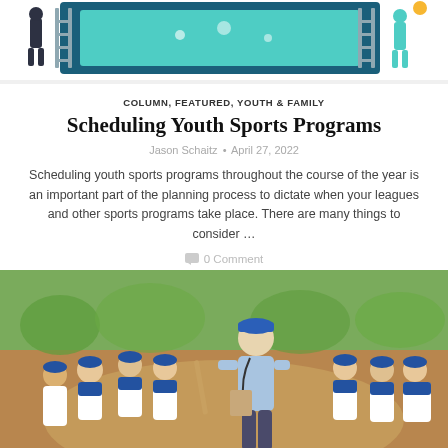[Figure (illustration): Colorful illustration showing people with ladders and a large screen/board, teal and dark blue colors]
COLUMN, FEATURED, YOUTH & FAMILY
Scheduling Youth Sports Programs
Jason Schaitz • April 27, 2022
Scheduling youth sports programs throughout the course of the year is an important part of the planning process to dictate when your leagues and other sports programs take place. There are many things to consider …
0 Comment
[Figure (photo): Photo of a baseball coach in a light blue shirt and blue cap talking to a group of young players in blue and white uniforms on a baseball field]